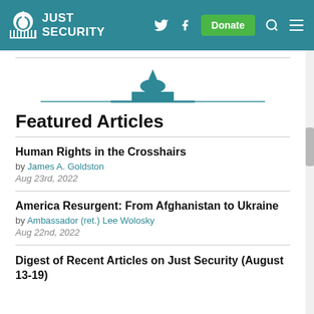JUST SECURITY
Featured Articles
Human Rights in the Crosshairs
by James A. Goldston
Aug 23rd, 2022
America Resurgent: From Afghanistan to Ukraine
by Ambassador (ret.) Lee Wolosky
Aug 22nd, 2022
Digest of Recent Articles on Just Security (August 13-19)